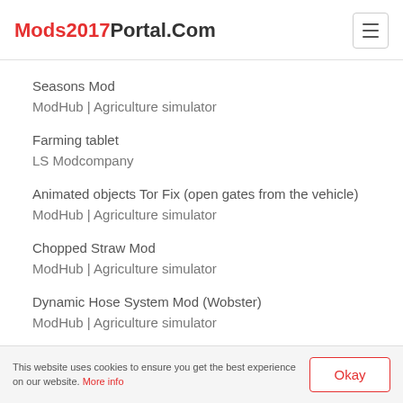Mods2017Portal.Com
Seasons Mod
ModHub | Agriculture simulator
Farming tablet
LS Modcompany
Animated objects Tor Fix (open gates from the vehicle)
ModHub | Agriculture simulator
Chopped Straw Mod
ModHub | Agriculture simulator
Dynamic Hose System Mod (Wobster)
ModHub | Agriculture simulator
Guide to the Map:
Anleitung_Hof_Bergmann.pdf at Filehorst - filehorst.de
This website uses cookies to ensure you get the best experience on our website. More info